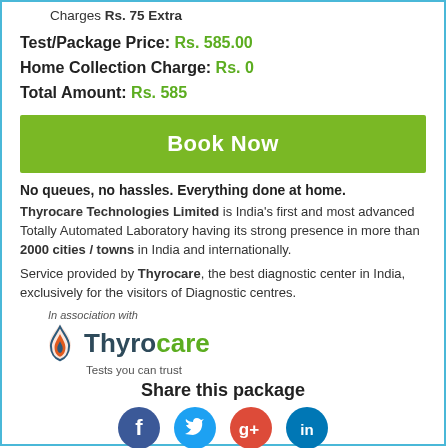Charges Rs. 75 Extra
Test/Package Price: Rs. 585.00
Home Collection Charge: Rs. 0
Total Amount: Rs. 585
Book Now
No queues, no hassles. Everything done at home.
Thyrocare Technologies Limited is India's first and most advanced Totally Automated Laboratory having its strong presence in more than 2000 cities / towns in India and internationally.
Service provided by Thyrocare, the best diagnostic center in India, exclusively for the visitors of Diagnostic centres.
[Figure (logo): Thyrocare logo with flame icon, text 'Thyro' in dark and 'care' in green, tagline 'Tests you can trust']
Share this package
[Figure (infographic): Social media icons: Facebook, Twitter, Google+, LinkedIn]